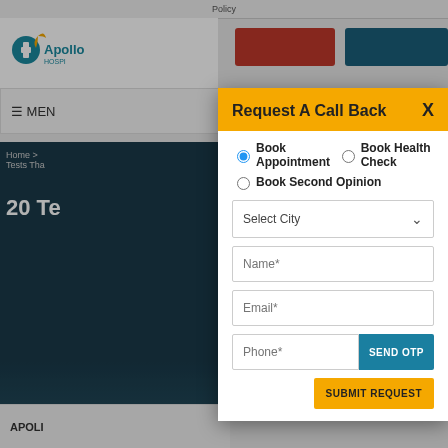Policy
[Figure (screenshot): Apollo Hospitals website background with logo, navigation buttons, menu bar, dark hero section with breadcrumb 'Home > Tests Tha...' and '20 Te...' heading, and 'APOLI' footer strip]
Request A Call Back
Book Appointment (selected)
Book Health Check
Book Second Opinion
Select City
Name*
Email*
Phone*
SEND OTP
SUBMIT REQUEST